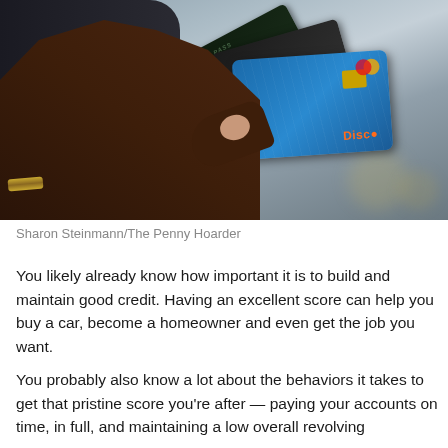[Figure (photo): A person's hands holding multiple credit cards including what appears to be a Capital One card, a Discover card, and other cards, photographed against a blurred background.]
Sharon Steinmann/The Penny Hoarder
You likely already know how important it is to build and maintain good credit. Having an excellent score can help you buy a car, become a homeowner and even get the job you want.
You probably also know a lot about the behaviors it takes to get that pristine score you're after — paying your accounts on time, in full, and maintaining a low overall revolving